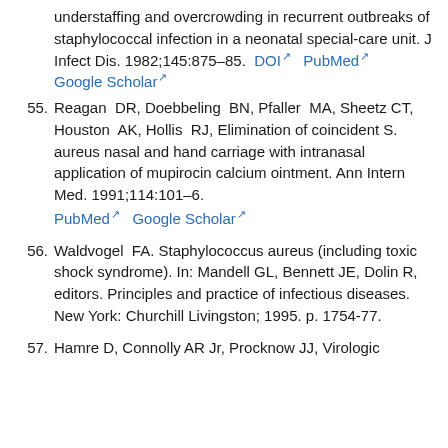understaffing and overcrowding in recurrent outbreaks of staphylococcal infection in a neonatal special-care unit. J Infect Dis. 1982;145:875–85. DOI  PubMed  Google Scholar
55. Reagan DR, Doebbeling BN, Pfaller MA, Sheetz CT, Houston AK, Hollis RJ, Elimination of coincident S. aureus nasal and hand carriage with intranasal application of mupirocin calcium ointment. Ann Intern Med. 1991;114:101–6. PubMed  Google Scholar
56. Waldvogel FA. Staphylococcus aureus (including toxic shock syndrome). In: Mandell GL, Bennett JE, Dolin R, editors. Principles and practice of infectious diseases. New York: Churchill Livingston; 1995. p. 1754-77.
57. Hamre D, Connolly AR Jr, Procknow JJ, Virologic...